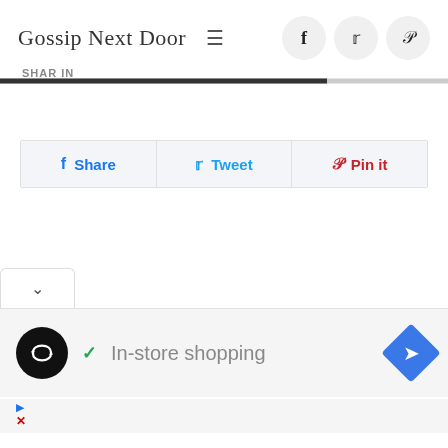Gossip Next Door
Share  Tweet  Pin it
[Figure (screenshot): Dropdown chevron tab UI element]
[Figure (infographic): Ad unit: black circle logo with loop arrows icon, green checkmark, 'In-store shopping' text, blue diamond navigation arrow icon]